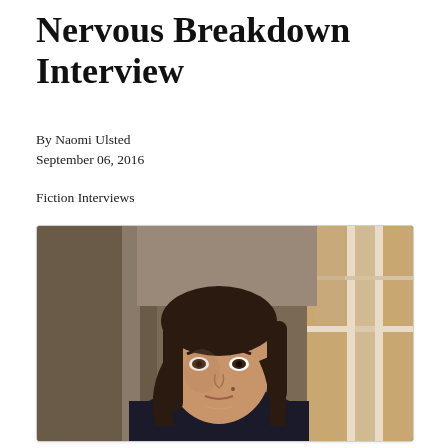Nervous Breakdown Interview
By Naomi Ulsted
September 06, 2016
Fiction Interviews
[Figure (photo): Portrait photo of a young woman with dark hair and bangs, wearing a dark top, standing indoors near a window with natural light.]